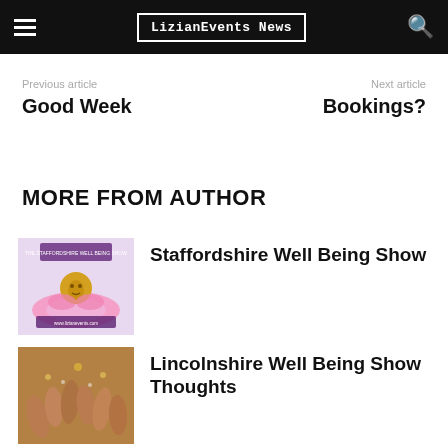LizianEvents News
Previous article
Good Week
Next article
Bookings?
MORE FROM AUTHOR
[Figure (photo): Staffordshire Well Being Show logo - pink lotus flower with golden Buddha, purple and pink tones]
Staffordshire Well Being Show
[Figure (photo): Lincolnshire Well Being Show - hands raised together in celebration]
Lincolnshire Well Being Show Thoughts